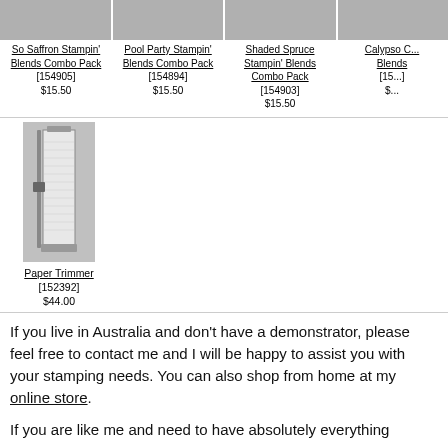[Figure (photo): So Saffron Stampin' Blends Combo Pack product image (gray placeholder)]
So Saffron Stampin' Blends Combo Pack [154905] $15.50
[Figure (photo): Pool Party Stampin' Blends Combo Pack product image (gray placeholder)]
Pool Party Stampin' Blends Combo Pack [154894] $15.50
[Figure (photo): Shaded Spruce Stampin' Blends Combo Pack product image (gray placeholder)]
Shaded Spruce Stampin' Blends Combo Pack [154903] $15.50
[Figure (photo): Calypso Coral Stampin' Blends Combo Pack product image (gray placeholder, partially cut off)]
Calypso C... Blends [15...] $...
[Figure (photo): Paper Trimmer product photo showing a large paper trimmer on gray background]
Paper Trimmer [152392] $44.00
If you live in Australia and don't have a demonstrator, please feel free to contact me and I will be happy to assist you with your stamping needs. You can also shop from home at my online store.
If you are like me and need to have absolutely everything